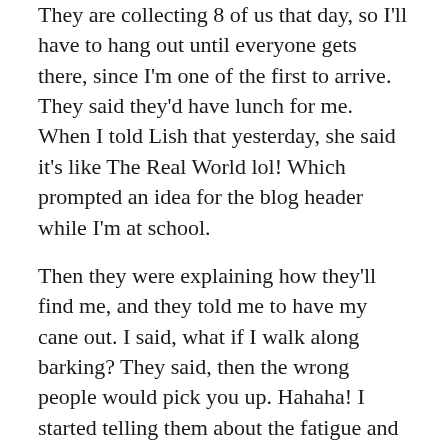They are collecting 8 of us that day, so I'll have to hang out until everyone gets there, since I'm one of the first to arrive. They said they'd have lunch for me. When I told Lish that yesterday, she said it's like The Real World lol! Which prompted an idea for the blog header while I'm at school.
Then they were explaining how they'll find me, and they told me to have my cane out. I said, what if I walk along barking? They said, then the wrong people would pick you up. Hahaha! I started telling them about the fatigue and they said don't worry, if you have a day where you can't work, we're not gonna send you home without your dog. They also said the nurses will probably hover over me haha! I told them what Dave said about me learning stuff once and they sounded impressed and I said, his